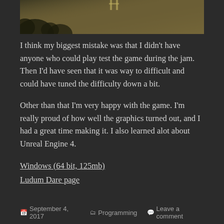[Figure (photo): Partial screenshot of a game scene showing trees/shadows on a sandy/grassy terrain, top portion visible]
I think my biggest mistake was that I didn't have anyone who could play test the game during the jam. Then I'd have seen that it was way to difficult and could have tuned the difficulty down a bit.
Other than that I'm very happy with the game. I'm really proud of how well the graphics turned out, and I had a great time making it. I also learned alot about Unreal Engine 4.
Windows (64 bit, 125mb)
Ludum Dare page
September 4, 2017   Programming   Leave a comment